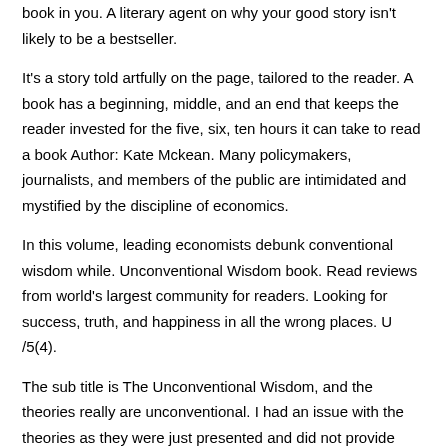book in you. A literary agent on why your good story isn't likely to be a bestseller.
It's a story told artfully on the page, tailored to the reader. A book has a beginning, middle, and an end that keeps the reader invested for the five, six, ten hours it can take to read a book Author: Kate Mckean. Many policymakers, journalists, and members of the public are intimidated and mystified by the discipline of economics.
In this volume, leading economists debunk conventional wisdom while. Unconventional Wisdom book. Read reviews from world's largest community for readers. Looking for success, truth, and happiness in all the wrong places. U /5(4).
The sub title is The Unconventional Wisdom, and the theories really are unconventional. I had an issue with the theories as they were just presented and did not provide much data to back the them.
In the index the author provides the articles and books in which he got the data from, but to find the articles and books and then read them would /5. Jean Nandi Unconventional Wisdom. INTRODUCTION - iii -